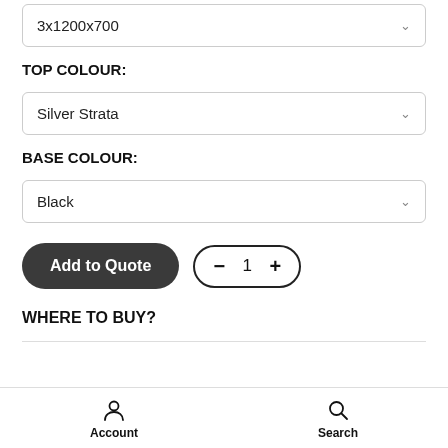3x1200x700
TOP COLOUR:
Silver Strata
BASE COLOUR:
Black
Add to Quote
- 1 +
WHERE TO BUY?
Account   Search